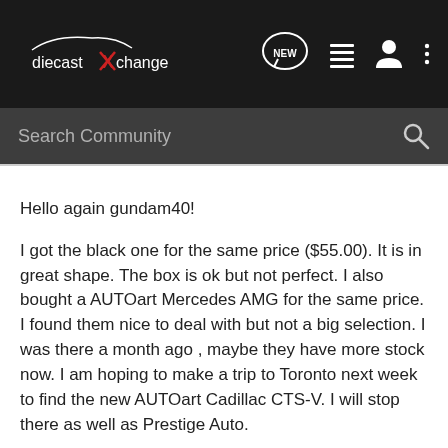diecastXchange — navigation bar with NEW, list, user, and menu icons
Search Community
Hello again gundam40!

I got the black one for the same price ($55.00). It is in great shape. The box is ok but not perfect. I also bought a AUTOart Mercedes AMG for the same price. I found them nice to deal with but not a big selection. I was there a month ago , maybe they have more stock now. I am hoping to make a trip to Toronto next week to find the new AUTOart Cadillac CTS-V. I will stop there as well as Prestige Auto.

I like going to Prestige because the selection is always good. I love my trips to Toronto for die cast cars!!!!!!!

Good luck gundam40!